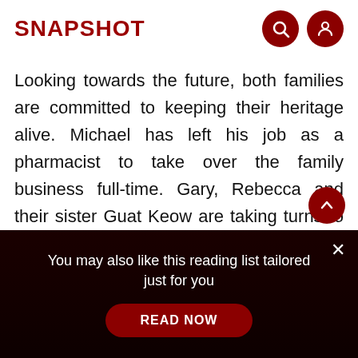SNAPSHOT
Looking towards the future, both families are committed to keeping their heritage alive. Michael has left his job as a pharmacist to take over the family business full-time. Gary, Rebecca and their sister Guat Keow are taking turns to help their father make popiah skins and keep the family business going. They also plan to teach the skill to their kids when they're old enough. Home
You may also like this reading list tailored just for you
READ NOW